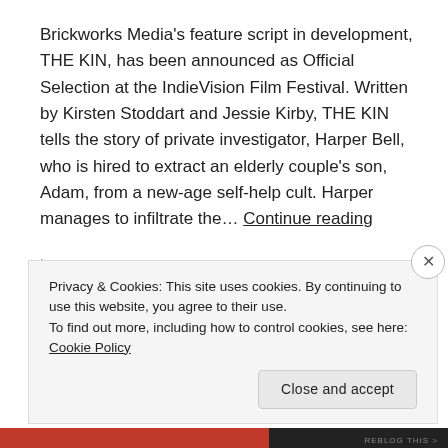Brickworks Media's feature script in development, THE KIN, has been announced as Official Selection at the IndieVision Film Festival. Written by Kirsten Stoddart and Jessie Kirby, THE KIN tells the story of private investigator, Harper Bell, who is hired to extract an elderly couple's son, Adam, from a new-age self-help cult. Harper manages to infiltrate the… Continue reading
Leave a comment
Privacy & Cookies: This site uses cookies. By continuing to use this website, you agree to their use. To find out more, including how to control cookies, see here: Cookie Policy
Close and accept